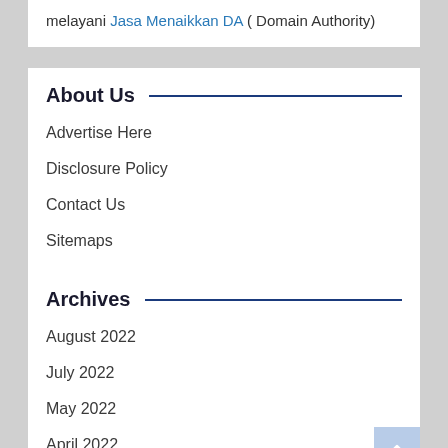melayani Jasa Menaikkan DA ( Domain Authority)
About Us
Advertise Here
Disclosure Policy
Contact Us
Sitemaps
Archives
August 2022
July 2022
May 2022
April 2022